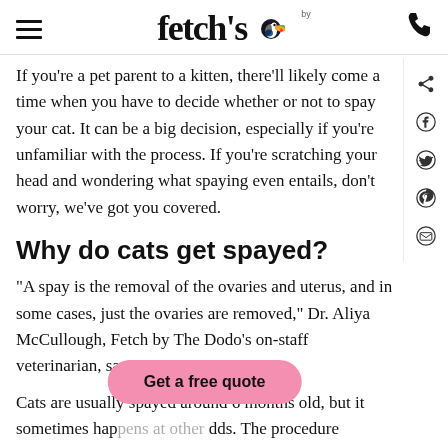fetch by (logo with toucan bird icon)
If you're a pet parent to a kitten, there'll likely come a time when you have to decide whether or not to spay your cat. It can be a big decision, especially if you're unfamiliar with the process. If you're scratching your head and wondering what spaying even entails, don't worry, we've got you covered.
Why do cats get spayed?
"A spay is the removal of the ovaries and uterus, and in some cases, just the ovaries are removed," Dr. Aliya McCullough, Fetch by The Dodo's on-staff veterinarian, says.
Cats are usually spayed around 6 months old, but it sometimes happens at other odds. The procedure prevents unplanned pregnancies